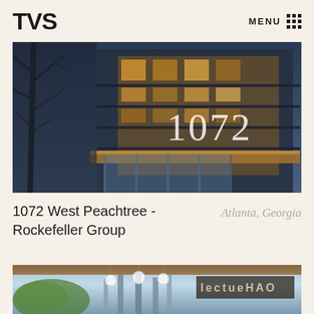TVS  MENU :::
[Figure (photo): Upward-angle architectural photograph of a modern multi-story building facade with illuminated warm-toned wood and glass panels, the number 1072 displayed prominently, bare tree branches visible on the left, dusk/night lighting]
1072 West Peachtree - Rockefeller Group   Atlanta, Georgia
[Figure (photo): Exterior rendering or photograph of a modern architectural structure with tall sculptural spire-like columns, globe pendant lights, greenery, and signage reading 'lecture hall' or similar, blue sky background]